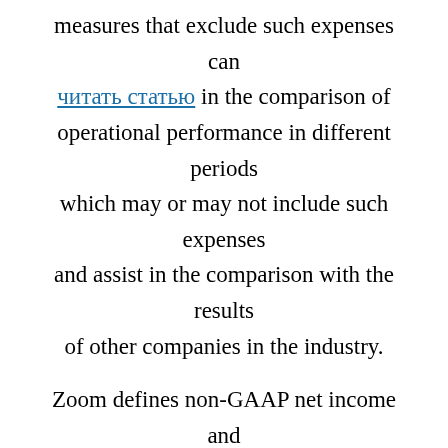measures that exclude such expenses can читать статью in the comparison of operational performance in different periods which may or may not include such expenses and assist in the comparison with the results of other companies in the industry. Zoom defines non-GAAP net income and non-GAAP net income per share, basic and diluted, as GAAP net income attributable to common stockholders and GAAP net income per share attributable to common